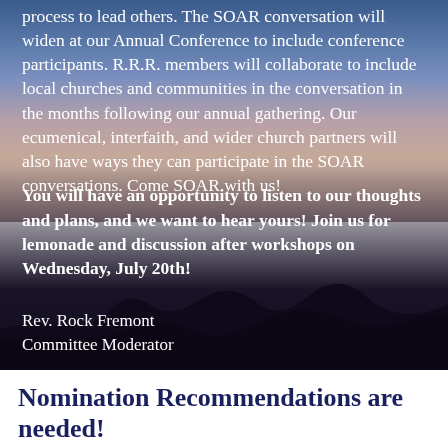process to lead others. The SOAR conversation will widen at our Annual Conference to include conference participants. R.R.R. members will collaborate to include local churches and communities in the conversation in the months following our annual gathering. Our ecumenical, interfaith, and wider church partners will also have ways they can participate in the SOAR conversations. Come SOAR with us!
You will have an opportunity to listen to our thoughts and plans, and we want to hear yours!  Join us for lemonade and discussion after workshops on Wednesday, July 20th!
Rev. Rock Fremont
Committee Moderator
Nomination Recommendations are needed!